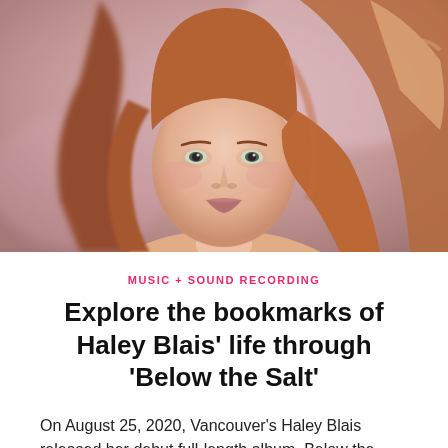[Figure (photo): Portrait photo of a young woman with long red/auburn hair, soft focus background in pink/purple tones, looking directly at camera]
MUSIC + SOUND RECORDING
Explore the bookmarks of Haley Blais' life through 'Below the Salt'
On August 25, 2020, Vancouver's Haley Blais released her debut full-length album, Below the Salt, through the new